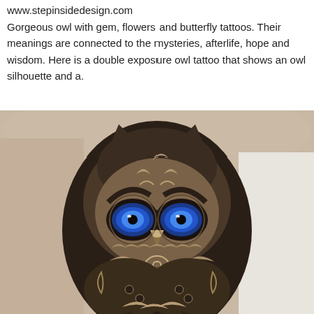www.stepinsidedesign.com
Gorgeous owl with gem, flowers and butterfly tattoos. Their meanings are connected to the mysteries, afterlife, hope and wisdom. Here is a double exposure owl tattoo that shows an owl silhouette and a.
[Figure (photo): A detailed ornamental owl tattoo on a person's arm, featuring blue glowing eyes, intricate mandala and floral patterns, a keyhole on the chest, and decorative feather details in black and skin tones.]